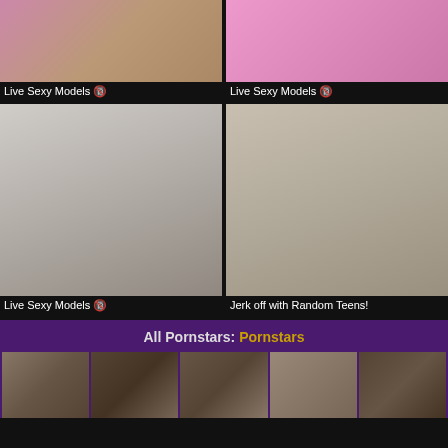[Figure (photo): Adult content thumbnail top left]
Live Sexy Models 🔞
[Figure (photo): Adult content thumbnail top right]
Live Sexy Models 🔞
[Figure (photo): Adult content thumbnail middle left - blonde woman]
Live Sexy Models 🔞
[Figure (photo): Adult content thumbnail middle right - woman in bra]
Jerk off with Random Teens!
All Pornstars: Pornstars
[Figure (photo): Row of 5 adult content thumbnails at bottom]